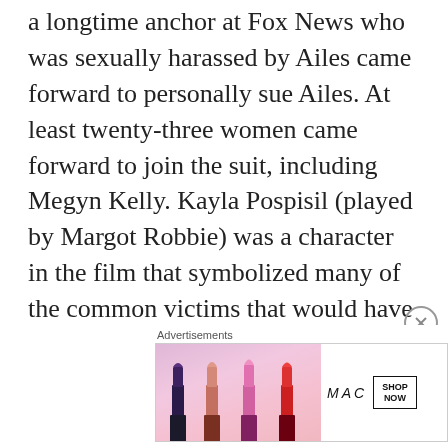a longtime anchor at Fox News who was sexually harassed by Ailes came forward to personally sue Ailes. At least twenty-three women came forward to join the suit, including Megyn Kelly. Kayla Pospisil (played by Margot Robbie) was a character in the film that symbolized many of the common victims that would have been affected by Ailes. She is a young, beautiful blonde in awe of Ailes, the powerful media giant, who thinks she is getting some personal
Advertisements
[Figure (other): MAC Cosmetics advertisement banner showing lipsticks in purple, peach, pink, and red colors alongside the MAC logo and a SHOP NOW button]